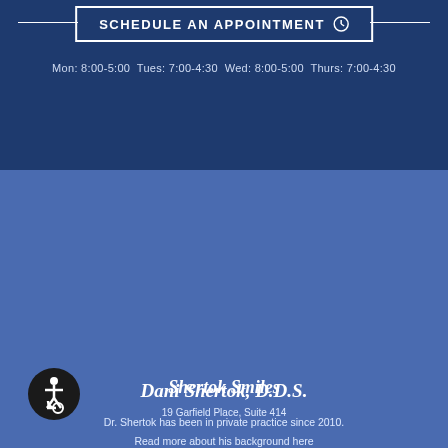SCHEDULE AN APPOINTMENT
Mon: 8:00-5:00 Tues: 7:00-4:30 Wed: 8:00-5:00 Thurs: 7:00-4:30
Dani Shertok, D.D.S.
Dr. Shertok has been in private practice since 2010. Read more about his background here
[Figure (illustration): Wheelchair accessibility icon — white wheelchair symbol on dark circular background]
Shertok Smiles
19 Garfield Place, Suite 414